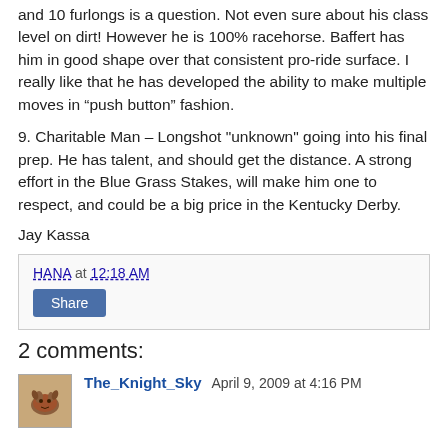and 10 furlongs is a question. Not even sure about his class level on dirt! However he is 100% racehorse. Baffert has him in good shape over that consistent pro-ride surface. I really like that he has developed the ability to make multiple moves in “push button” fashion.
9. Charitable Man – Longshot "unknown" going into his final prep. He has talent, and should get the distance. A strong effort in the Blue Grass Stakes, will make him one to respect, and could be a big price in the Kentucky Derby.
Jay Kassa
HANA at 12:18 AM
Share
2 comments:
The_Knight_Sky April 9, 2009 at 4:16 PM